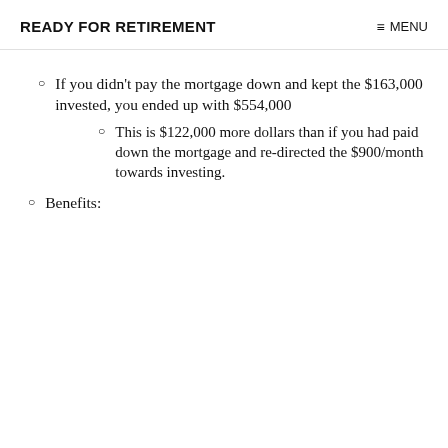READY FOR RETIREMENT    ≡ MENU
If you didn't pay the mortgage down and kept the $163,000 invested, you ended up with $554,000
This is $122,000 more dollars than if you had paid down the mortgage and re-directed the $900/month towards investing.
Benefits: